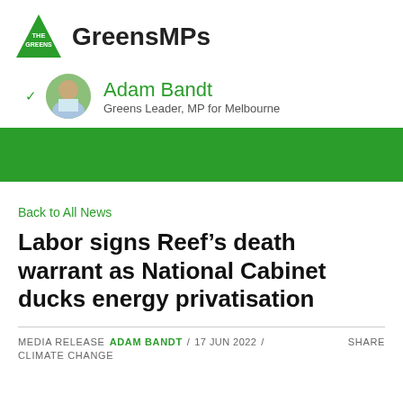GreensMPs
Adam Bandt
Greens Leader, MP for Melbourne
[Figure (other): Green banner/divider bar]
Back to All News
Labor signs Reef’s death warrant as National Cabinet ducks energy privatisation
MEDIA RELEASE   ADAM BANDT / 17 JUN 2022 /   SHARE
CLIMATE CHANGE